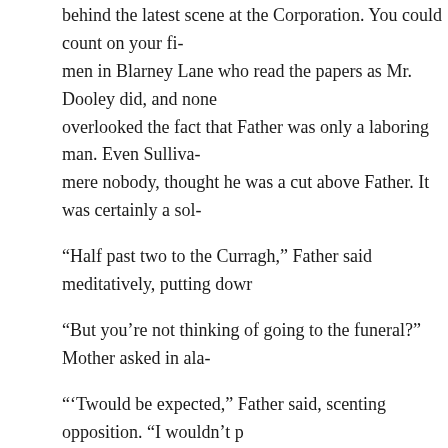behind the latest scene at the Corporation. You could count on your fi- men in Blarney Lane who read the papers as Mr. Dooley did, and none overlooked the fact that Father was only a laboring man. Even Sulliva- mere nobody, thought he was a cut above Father. It was certainly a sol-
“Half past two to the Curragh,” Father said meditatively, putting dowr
“But you’re not thinking of going to the funeral?” Mother asked in ala-
“’Twould be expected,” Father said, scenting opposition. “I wouldn’t p
“I think,” said Mother with suppressed emotion, “it will be as much as you go to the chapel with him.”
(“Going to the chapel,” of course, was one thing, because the body wa- but going to the funeral meant the loss of a half-day’s pay. )
“The people hardly know us,” she added.
“God between us and all harm,” Father replied with dignity, “we’d be to-”